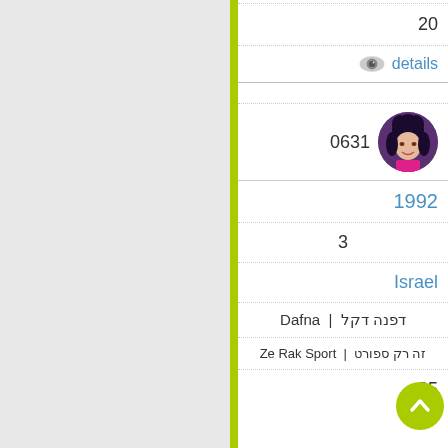20
details
0631
1992
3
Israel
דפנה דקל | Dafna
זה רק ספורט | Ze Rak Sport
85